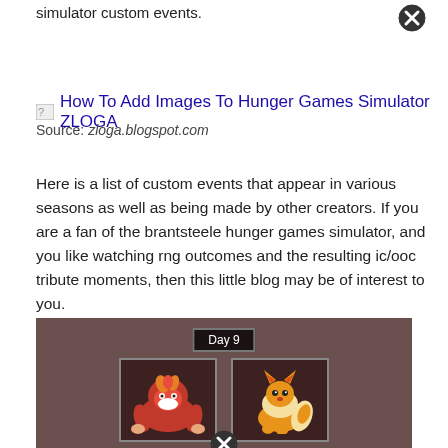simulator custom events.
[Figure (other): Close/X button icon]
[Figure (screenshot): Broken image placeholder icon with text: How To Add Images To Hunger Games Simulator ZLOGA]
Source: zloga.blogspot.com
Here is a list of custom events that appear in various seasons as well as being made by other creators. If you are a fan of the brantsteele hunger games simulator, and you like watching rng outcomes and the resulting ic/ooc tribute moments, then this little blog may be of interest to you.
[Figure (screenshot): Screenshot of Hunger Games Simulator showing Day 9 with Darmanitan and Flareon Pokemon sprites. Text reads: Darmanitan and Flareon hunt for other tributes. A close/X button appears at the bottom.]